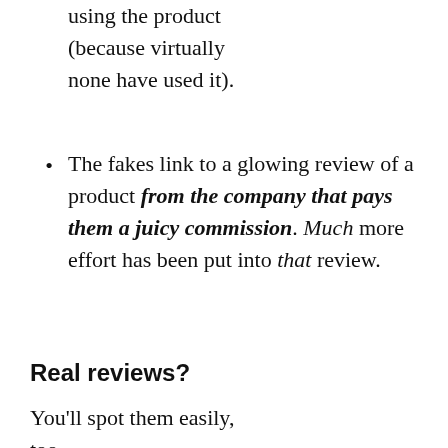using the product (because virtually none have used it).
The fakes link to a glowing review of a product from the company that pays them a juicy commission. Much more effort has been put into that review.
Real reviews?
You'll spot them easily, too...